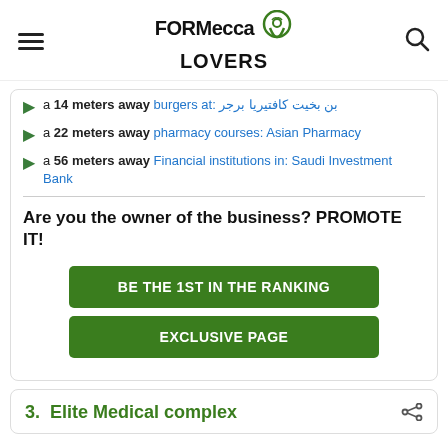FORMecca LOVERS
a 14 meters away burgers at: بن بخيت كافتيريا برجر
a 22 meters away pharmacy courses: Asian Pharmacy
a 56 meters away Financial institutions in: Saudi Investment Bank
Are you the owner of the business? PROMOTE IT!
BE THE 1ST IN THE RANKING
EXCLUSIVE PAGE
3. Elite Medical complex